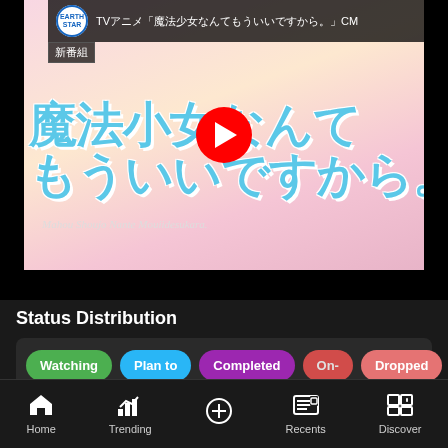[Figure (screenshot): YouTube video thumbnail for anime 'Mahou Shoujo Nante Mouiidesukara' showing the anime title in large blue Japanese text with pink background. Has YouTube play button overlay and Earth Star Entertainment channel logo. Title bar reads TV anime CM.]
Status Distribution
[Figure (other): Status distribution filter bar with colored pill buttons: Watching (green), Plan to (blue), Completed (purple), On- (pink/red), Dropped (light red)]
Home   Trending   +   Recents   Discover